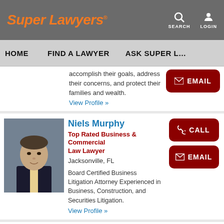Super Lawyers
HOME  FIND A LAWYER  ASK SUPER L…
accomplish their goals, address their concerns, and protect their families and wealth.
View Profile »
Niels Murphy
Top Rated Business & Commercial Law Lawyer
Jacksonville, FL
Board Certified Business Litigation Attorney Experienced in Business, Construction, and Securities Litigation.
View Profile »
Jason E. Havens